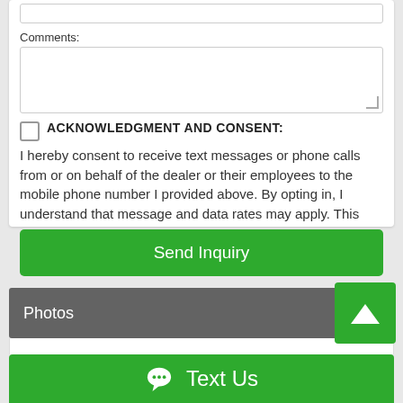Comments:
ACKNOWLEDGMENT AND CONSENT:
I hereby consent to receive text messages or phone calls from or on behalf of the dealer or their employees to the mobile phone number I provided above. By opting in, I understand that message and data rates may apply. This acknowledgement constitutes my written consent
Send Inquiry
Photos
Text Us